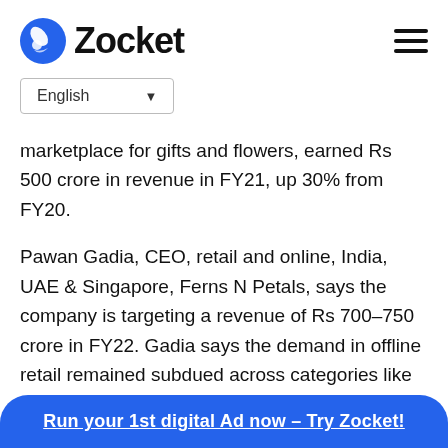Zocket
English
marketplace for gifts and flowers, earned Rs 500 crore in revenue in FY21, up 30% from FY20.
Pawan Gadia, CEO, retail and online, India, UAE & Singapore, Ferns N Petals, says the company is targeting a revenue of Rs 700–750 crore in FY22. Gadia says the demand in offline retail remained subdued across categories like flowers and indoor plants, whereas online sales jumped 30% in FY21 over FY20. "
Run your 1st digital Ad now – Try Zocket!